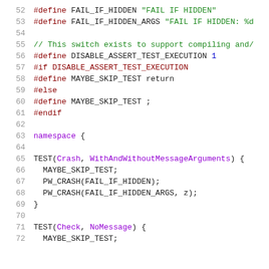[Figure (screenshot): Source code listing showing C++ preprocessor definitions and test code. Lines 52-72 showing #define macros for FAIL_IF_HIDDEN, FAIL_IF_HIDDEN_ARGS, DISABLE_ASSERT_TEST_EXECUTION, MAYBE_SKIP_TEST, namespace block, and TEST functions.]